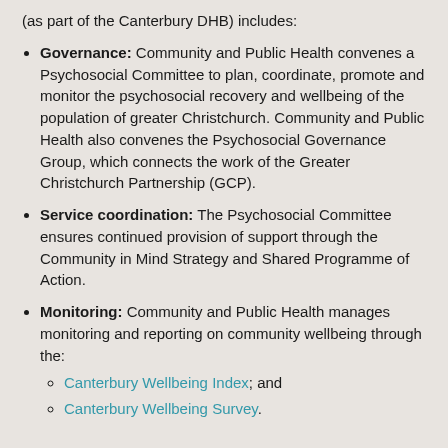(as part of the Canterbury DHB) includes:
Governance: Community and Public Health convenes a Psychosocial Committee to plan, coordinate, promote and monitor the psychosocial recovery and wellbeing of the population of greater Christchurch. Community and Public Health also convenes the Psychosocial Governance Group, which connects the work of the Greater Christchurch Partnership (GCP).
Service coordination: The Psychosocial Committee ensures continued provision of support through the Community in Mind Strategy and Shared Programme of Action.
Monitoring: Community and Public Health manages monitoring and reporting on community wellbeing through the: Canterbury Wellbeing Index; and Canterbury Wellbeing Survey.
Life for many in Canterbury is improving. However the psychosocial impacts of the 2010/11 earthquakes are still being felt. It is estimated psychosocial recovery from disasters of the magnitude of the Canterbury Earthquake sequence will take at